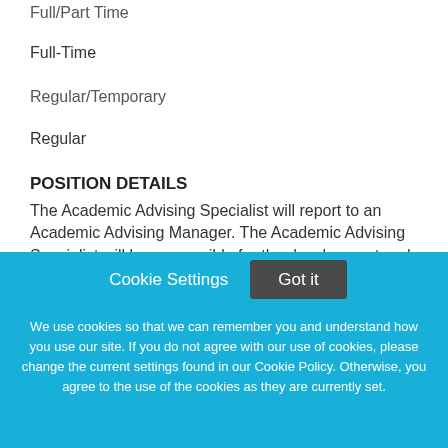Full/Part Time
Full-Time
Regular/Temporary
Regular
POSITION DETAILS
The Academic Advising Specialist will report to an Academic Advising Manager. The Academic Advising Specialist will...
Cookie Settings
Got it
We use cookies so that we can remember you and understand how you use our site. If you do not agree with our use of cookies, please change the current settings found in our Cookie Policy. Otherwise, you agree to the use of the cookies as they are currently set.